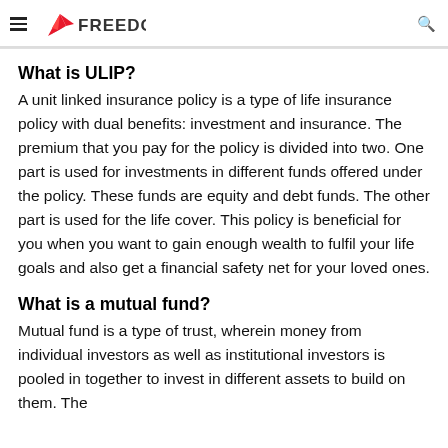FREEDOM
What is ULIP?
A unit linked insurance policy is a type of life insurance policy with dual benefits: investment and insurance. The premium that you pay for the policy is divided into two. One part is used for investments in different funds offered under the policy. These funds are equity and debt funds. The other part is used for the life cover. This policy is beneficial for you when you want to gain enough wealth to fulfil your life goals and also get a financial safety net for your loved ones.
What is a mutual fund?
Mutual fund is a type of trust, wherein money from individual investors as well as institutional investors is pooled in together to invest in different assets to build on them. The